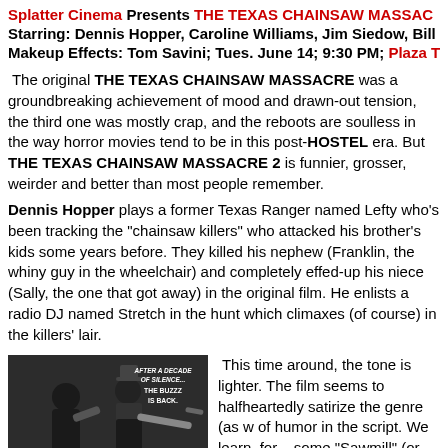Splatter Cinema Presents THE TEXAS CHAINSAW MASSACRE 2 Starring: Dennis Hopper, Caroline Williams, Jim Siedow, Bill M... Makeup Effects: Tom Savini; Tues. June 14; 9:30 PM; Plaza Th...
The original THE TEXAS CHAINSAW MASSACRE was a groundbreaking achievement of mood and drawn-out tension, the third one was mostly crap, and the reboots are soulless in the way horror movies tend to be in this post-HOSTEL era. But THE TEXAS CHAINSAW MASSACRE 2 is funnier, grosser, weirder and better than most people remember.
Dennis Hopper plays a former Texas Ranger named Lefty who's been tracking the “chainsaw killers” who attacked his brother’s kids some years before. They killed his nephew (Franklin, the whiny guy in the wheelchair) and completely effed-up his niece (Sally, the one that got away) in the original film. He enlists a radio DJ named Stretch in the hunt which climaxes (of course) in the killers’ lair.
[Figure (photo): Movie poster/promotional image for The Texas Chainsaw Massacre 2, showing figures with text 'AFTER A DECADE OF SILENCE... THE BUZZ IS BACK.']
This time around, the tone is lighter. The film seems to halfheartedly satirize the genre (as w... of humor in the script. We learn, for... ...Sawmill (or do we?) M...